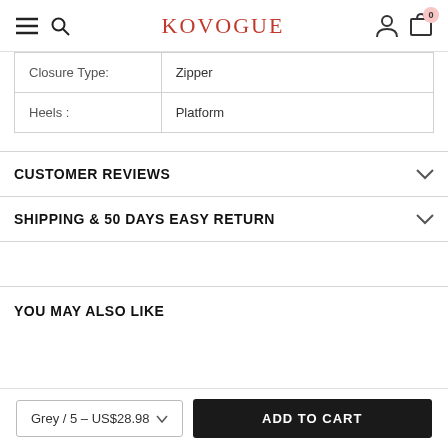KOVOGUE
| Closure Type: | Zipper |
| Heels : | Platform |
CUSTOMER REVIEWS
SHIPPING & 50 DAYS EASY RETURN
YOU MAY ALSO LIKE
Grey / 5 – US$28.98
ADD TO CART